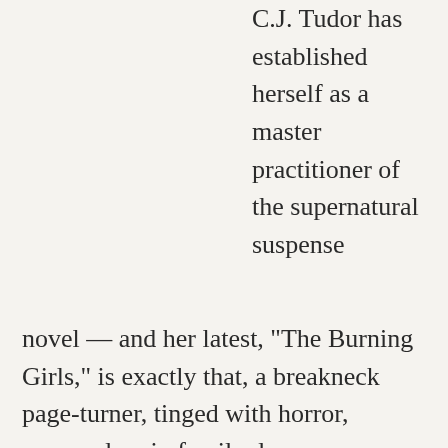C.J. Tudor has established herself as a master practitioner of the supernatural suspense novel — and her latest, “The Burning Girls,” is exactly that, a breakneck page-turner, tinged with horror, wrapped up in family drama.